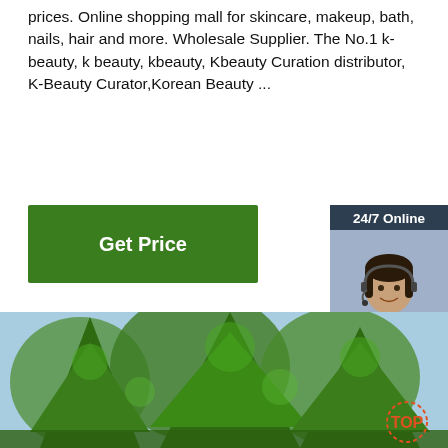prices. Online shopping mall for skincare, makeup, bath, nails, hair and more. Wholesale Supplier. The No.1 k-beauty, k beauty, kbeauty, Kbeauty Curation distributor, K-Beauty Curator,Korean Beauty ...
[Figure (other): Green 'Get Price' button]
[Figure (other): 24/7 Online chat widget with female agent photo and QUOTATION button]
[Figure (photo): Outdoor photo of large green conifer trees against a blue sky, with a red dotted TOP badge in the lower right corner]